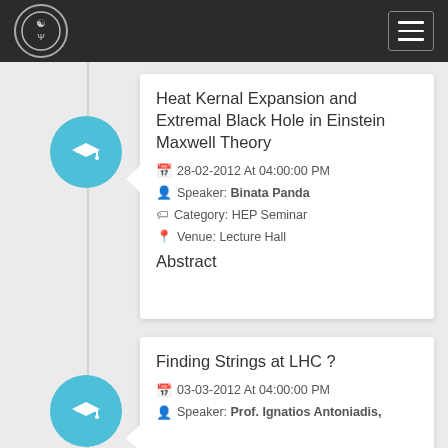Heat Kernal Expansion and Extremal Black Hole in Einstein Maxwell Theory
28-02-2012 At 04:00:00 PM
Speaker: Binata Panda
Category: HEP Seminar
Venue: Lecture Hall
Abstract
Finding Strings at LHC ?
03-03-2012 At 04:00:00 PM
Speaker: Prof. Ignatios Antoniadis,